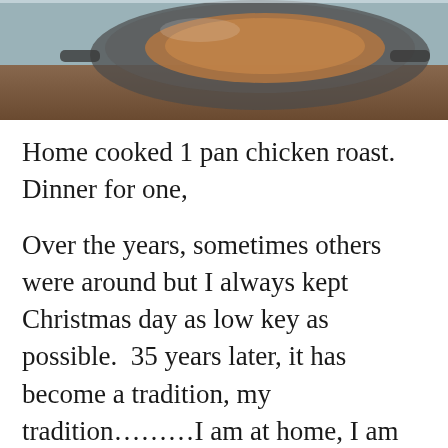[Figure (photo): Partial photo of a cooked chicken dish in a pan, viewed from above, on a wooden surface. Only the top portion of the image is visible.]
Home cooked 1 pan chicken roast. Dinner for one,
Over the years, sometimes others were around but I always kept Christmas day as low key as possible.  35 years later, it has become a tradition, my tradition………I am at home, I am alone and I am delighting in my own company and indulging myself in rest and relaxation.  It feels holy and sacred and it is